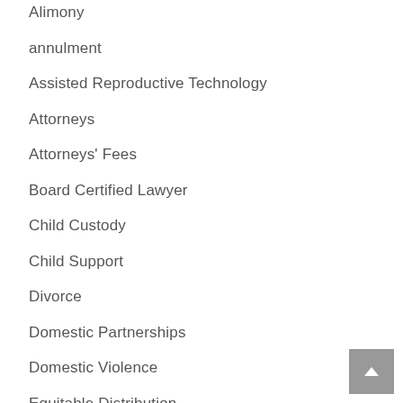Alimony
annulment
Assisted Reproductive Technology
Attorneys
Attorneys' Fees
Board Certified Lawyer
Child Custody
Child Support
Divorce
Domestic Partnerships
Domestic Violence
Equitable Distribution